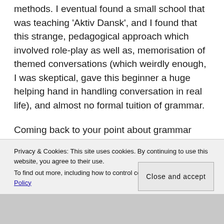methods. I eventual found a small school that was teaching 'Aktiv Dansk', and I found that this strange, pedagogical approach which involved role-play as well as, memorisation of themed conversations (which weirdly enough, I was skeptical, gave this beginner a huge helping hand in handling conversation in real life), and almost no formal tuition of grammar.

Coming back to your point about grammar rules in Spanish, I found this form of tuition so slow and frustrating yet it forms the mainstay of language education, would it not be possible to teach it
Privacy & Cookies: This site uses cookies. By continuing to use this website, you agree to their use.
To find out more, including how to control cookies, see here: Cookie Policy
Close and accept